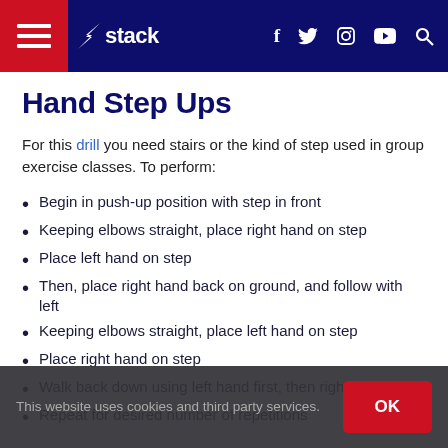stack — navigation bar with hamburger menu, logo, social icons (f, twitter, instagram, youtube), and search
Hand Step Ups
For this drill you need stairs or the kind of step used in group exercise classes. To perform:
Begin in push-up position with step in front
Keeping elbows straight, place right hand on step
Place left hand on step
Then, place right hand back on ground, and follow with left
Keeping elbows straight, place left hand on step
Place right hand on step
Walk back down using left hand first, then right
Repeat for desired number of repetitions
This website uses cookies and third party services. OK